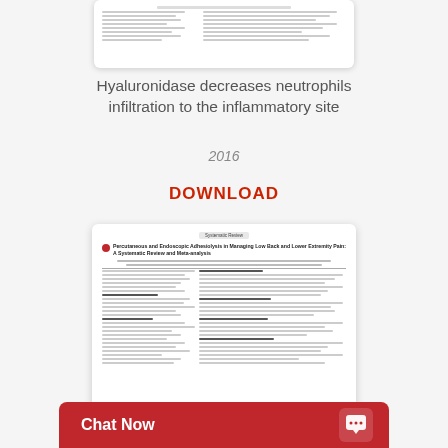[Figure (screenshot): Thumbnail of a medical/scientific document page showing columns of text]
Hyaluronidase decreases neutrophils infiltration to the inflammatory site
2016
DOWNLOAD
[Figure (screenshot): Thumbnail of a systematic review article: 'Percutaneous and Endoscopic Adhesiolysis in Managing Low Back and Lower Extremity Pain: A Systematic Review and Meta-analysis']
Chat Now